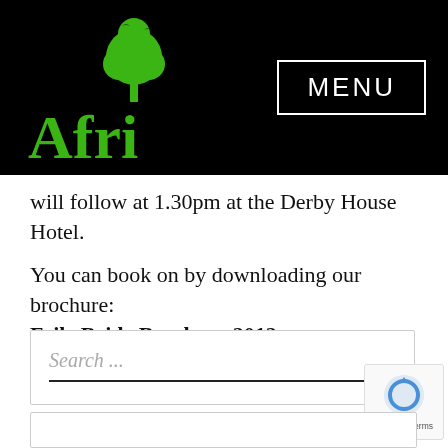Afri — MENU
will follow at 1.30pm at the Derby House Hotel.
You can book on by downloading our brochure: Feile Bride Brochure 2012.
[Figure (other): Search input box with placeholder text 'Search ...' and underline]
[Figure (other): reCAPTCHA badge with Privacy - Terms text]
[Figure (other): Bottom bordered box]